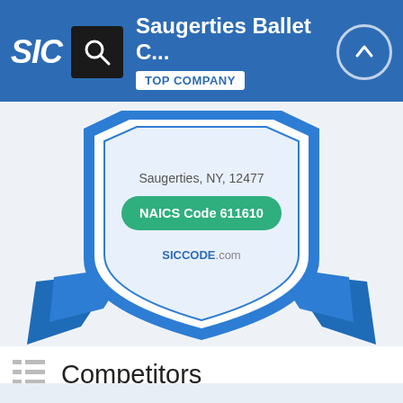Saugerties Ballet C... | TOP COMPANY
[Figure (illustration): Award badge/shield graphic with text: Saugerties, NY, 12477 and NAICS Code 611610 badge and SICCODE.com branding, with blue ribbon decorations]
Competitors
Some of the main competitors to "Saugerties Ballet Center" in SIC Code 7911 - Dance Studios, Schools, and Halls and NAICS Code 611610 - Fine Arts Schools are the following: